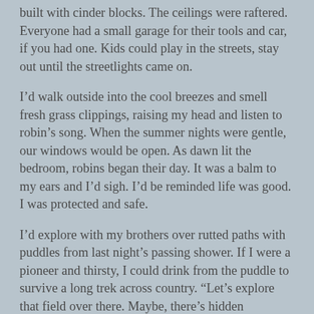built with cinder blocks. The ceilings were raftered. Everyone had a small garage for their tools and car, if you had one. Kids could play in the streets, stay out until the streetlights came on.
I'd walk outside into the cool breezes and smell fresh grass clippings, raising my head and listen to robin's song. When the summer nights were gentle, our windows would be open. As dawn lit the bedroom, robins began their day. It was a balm to my ears and I'd sigh. I'd be reminded life was good. I was protected and safe.
I'd explore with my brothers over rutted paths with puddles from last night's passing shower. If I were a pioneer and thirsty, I could drink from the puddle to survive a long trek across country. “Let’s explore that field over there. Maybe, there’s hidden treasure.”
We ran up a hill where a big tree had fallen over, branches and bracken tucked about. It made a good